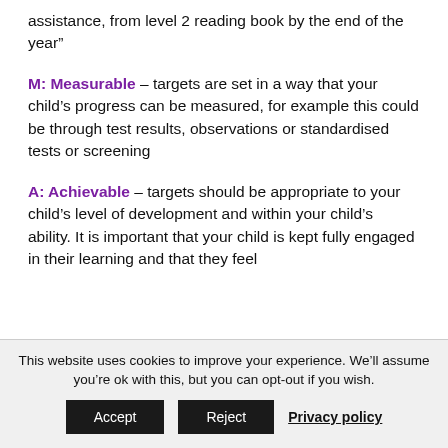assistance, from level 2 reading book by the end of the year”
M: Measurable – targets are set in a way that your child’s progress can be measured, for example this could be through test results, observations or standardised tests or screening
A: Achievable – targets should be appropriate to your child’s level of development and within your child’s ability. It is important that your child is kept fully engaged in their learning and that they feel
This website uses cookies to improve your experience. We’ll assume you’re ok with this, but you can opt-out if you wish.